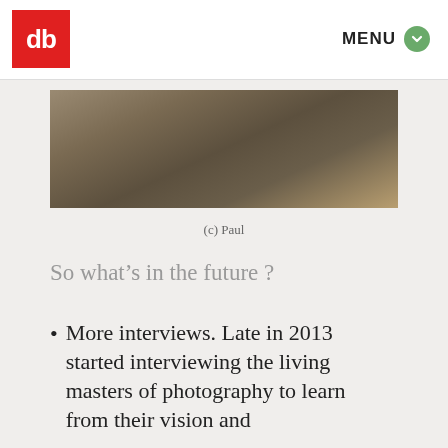db | MENU
[Figure (photo): A dark, moody landscape photograph with wooden texture tones in browns and tans]
(c) Paul
So what’s in the future ?
More interviews. Late in 2013 started interviewing the living masters of photography to learn from their vision and